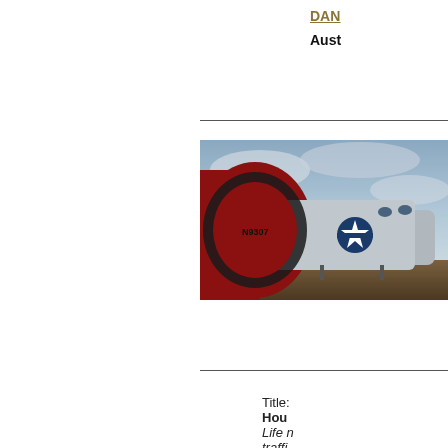DAN...
Aust...
[Figure (photo): Close-up photograph of a vintage WWII-era military aircraft tail section, showing red and silver colors with the number N9307 and a US military star insignia on the fuselage. Dramatic cloudy sky in background.]
Title: Warb...
DAV...
USA...
Title: Hou... Life r... traffi... as th... and n...